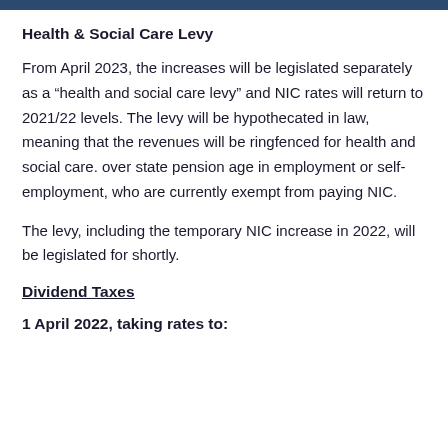Health & Social Care Levy
From April 2023, the increases will be legislated separately as a “health and social care levy” and NIC rates will return to 2021/22 levels. The levy will be hypothecated in law, meaning that the revenues will be ringfenced for health and social care. over state pension age in employment or self-employment, who are currently exempt from paying NIC.
The levy, including the temporary NIC increase in 2022, will be legislated for shortly.
Dividend Taxes
1 April 2022, taking rates to: